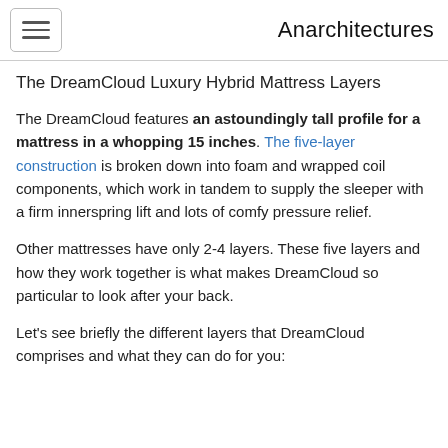Anarchitectures
The DreamCloud Luxury Hybrid Mattress Layers
The DreamCloud features an astoundingly tall profile for a mattress in a whopping 15 inches. The five-layer construction is broken down into foam and wrapped coil components, which work in tandem to supply the sleeper with a firm innerspring lift and lots of comfy pressure relief.
Other mattresses have only 2-4 layers. These five layers and how they work together is what makes DreamCloud so particular to look after your back.
Let's see briefly the different layers that DreamCloud comprises and what they can do for you: